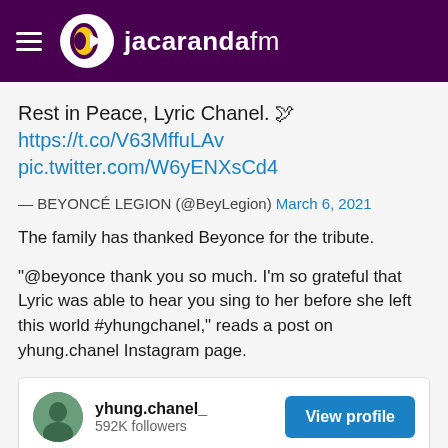jacarandafm
Rest in Peace, Lyric Chanel. 🕊https://t.co/V63MffuLAv pic.twitter.com/W6yENXsCd4
— BEYONCÉ LEGION (@BeyLegion) March 6, 2021
The family has thanked Beyonce for the tribute.
"@beyonce thank you so much. I'm so grateful that Lyric was able to hear you sing to her before she left this world #yhungchanel," reads a post on yhung.chanel Instagram page.
[Figure (screenshot): Instagram profile card for yhung.chanel_ showing 592K followers and a View profile button]